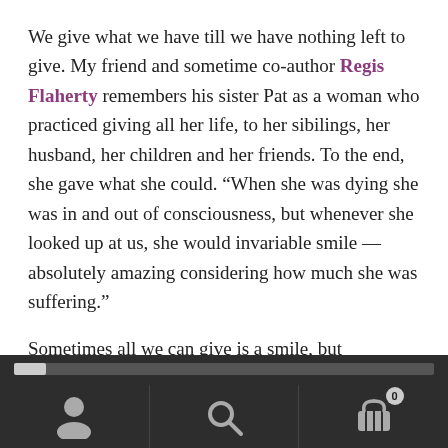We give what we have till we have nothing left to give. My friend and sometime co-author Regis Flaherty remembers his sister Pat as a woman who practiced giving all her life, to her sibilings, her husband, her children and her friends. To the end, she gave what she could. “When she was dying she was in and out of consciousness, but whenever she looked up at us, she would invariable smile — absolutely amazing considering how much she was suffering.”
Sometimes all we can give is a smile, but sometimes that is the greatest sacrifice, the greatest prayer, and indeed the most generous and most sacrificial alms.
[Figure (other): Dark mobile app navigation footer bar with a progress slider at the top, and three icon buttons: a person/account icon on the left, a search/magnifying glass icon in the center, and a shopping basket icon with a badge showing '0' on the right.]